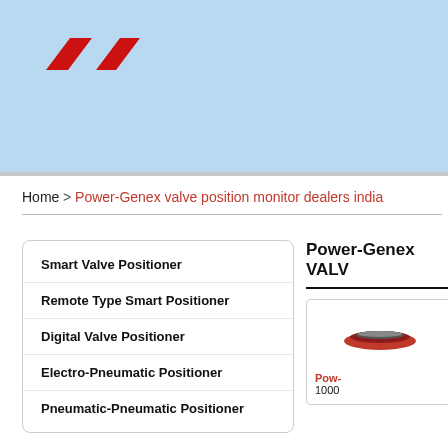[Figure (logo): Power-Genex red logo with two parallelogram shapes]
Home > Power-Genex valve position monitor dealers india
Smart Valve Positioner
Remote Type Smart Positioner
Digital Valve Positioner
Electro-Pneumatic Positioner
Pneumatic-Pneumatic Positioner
Power-Genex VALV
[Figure (photo): Small red valve positioner product image]
Pow-
1000